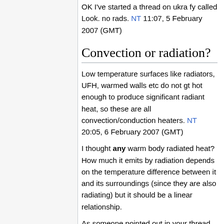OK I've started a thread on ukra fy called Look. no rads. NT 11:07, 5 February 2007 (GMT)
Convection or radiation?
Low temperature surfaces like radiators, UFH, warmed walls etc do not gt hot enough to produce significant radiant heat, so these are all convection/conduction heaters. NT 20:05, 6 February 2007 (GMT)
I thought any warm body radiated heat? How much it emits by radiation depends on the temperature difference between it and its surroundings (since they are also radiating) but it should be a linear relationship.
As someone pointed out in your thread on warm walls "radiators" have vastly greater output when they have multiple